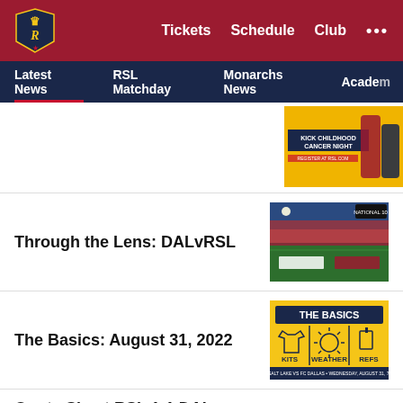RSL - Tickets  Schedule  Club ...
Latest News  RSL Matchday  Monarchs News  Academy
[Figure (photo): Kick Childhood Cancer Night promotional image with RSL players]
Through the Lens: DALvRSL
[Figure (photo): Stadium photo showing teams lined up on field during DAL vs RSL match]
The Basics: August 31, 2022
[Figure (infographic): The Basics infographic showing Kits, Weather, and Refs on yellow background]
Quote Sheet RSL 1-1 DAL